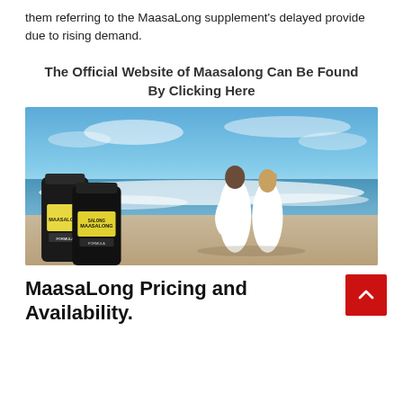them referring to the MaasaLong supplement's delayed provide due to rising demand.
The Official Website of Maasalong Can Be Found By Clicking Here
[Figure (photo): Photo of a couple sitting on a beach with their backs to the camera, waves in the background, with two MaasaLong supplement bottles overlaid in the bottom-left corner.]
MaasaLong Pricing and Availability.